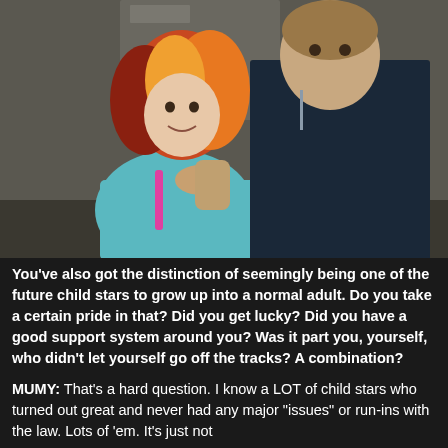[Figure (photo): A photo of a young woman with colorful orange and red hair wearing a teal jacket and a tall man in a dark jacket, posing together indoors.]
You've also got the distinction of seemingly being one of the future child stars to grow up into a normal adult. Do you take a certain pride in that? Did you get lucky? Did you have a good support system around you? Was it part you, yourself, who didn't let yourself go off the tracks? A combination?
MUMY: That's a hard question. I know a LOT of child stars who turned out great and never had any major "issues" or run-ins with the law. Lots of 'em. It's just not